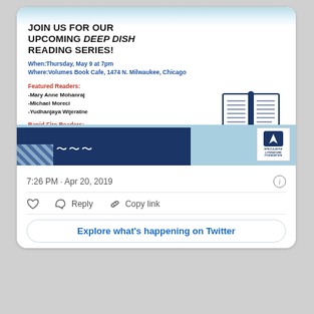[Figure (screenshot): Twitter/social media post card showing an event flyer for the Deep Dish Reading Series at Volumes Book Cafe, Chicago, with featured and rapid fire readers listed, and a book illustration. Below the flyer are Twitter UI elements: timestamp, like/reply/copy link actions, and Explore button.]
JOIN US FOR OUR UPCOMING DEEP DISH READING SERIES!
When: Thursday, May 9 at 7pm
Where: Volumes Book Cafe, 1474 N. Milwaukee, Chicago
Featured Readers:
-Mary Anne Mohanraj
-Michael Moreci
-Yudhanjaya Wijeratne
Rapid Fire Readers:
-Najm Haq
-Angeli Primlani
-Ajapa Sharma
-Supipi Weerasooriya
7:26 PM · Apr 20, 2019
Reply   Copy link
Explore what's happening on Twitter